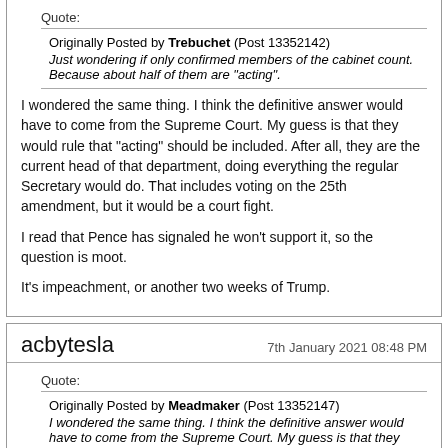Quote: Originally Posted by Trebuchet (Post 13352142) Just wondering if only confirmed members of the cabinet count. Because about half of them are "acting".
I wondered the same thing. I think the definitive answer would have to come from the Supreme Court. My guess is that they would rule that "acting" should be included. After all, they are the current head of that department, doing everything the regular Secretary would do. That includes voting on the 25th amendment, but it would be a court fight.

I read that Pence has signaled he won't support it, so the question is moot.

It's impeachment, or another two weeks of Trump.
acbytesla — 7th January 2021 08:48 PM
Quote: Originally Posted by Meadmaker (Post 13352147) I wondered the same thing. I think the definitive answer would have to come from the Supreme Court. My guess is that they would rule that "acting" should be included. After all, they are the current head of that department, doing everything the...